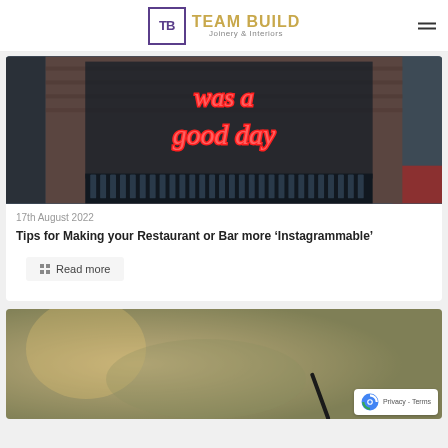TEAM BUILD Joinery & Interiors
[Figure (photo): Bar interior with neon sign reading 'was a good day' on a brick wall, with bottles on shelf below]
17th August 2022
Tips for Making your Restaurant or Bar more ‘Instagrammable’
Read more
[Figure (photo): Blurred image of a hand writing with a pen, restaurant/bar setting in background]